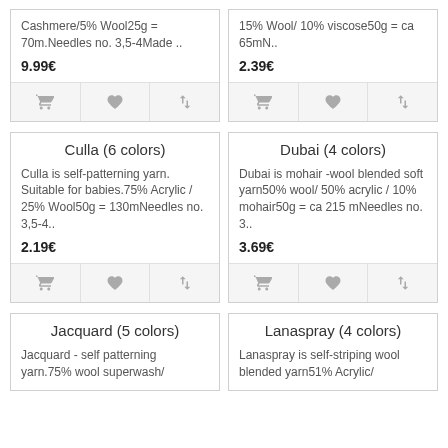Cashmere/5% Wool25g = 70m.Needles no. 3,5-4Made ..
9.99€
15% Wool/ 10% viscose50g = ca 65mN..
2.39€
Culla (6 colors)
Culla is self-patterning yarn. Suitable for babies.75% Acrylic / 25% Wool50g = 130mNeedles no. 3,5-4..
2.19€
Dubai (4 colors)
Dubai is mohair -wool blended soft yarn50% wool/ 50% acrylic / 10% mohair50g = ca 215 mNeedles no. 3..
3.69€
Jacquard (5 colors)
Jacquard - self patterning yarn.75% wool superwash/
Lanaspray (4 colors)
Lanaspray is self-striping wool blended yarn51% Acrylic/